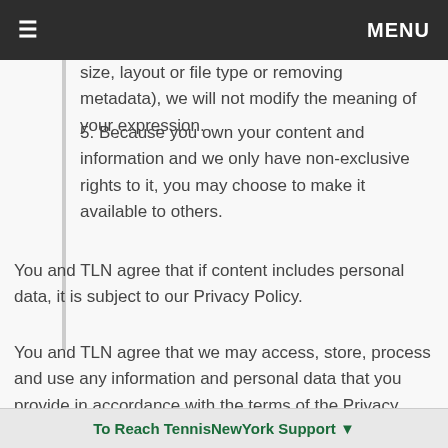≡  MENU
size, layout or file type or removing metadata), we will not modify the meaning of your expression.
5. Because you own your content and information and we only have non-exclusive rights to it, you may choose to make it available to others.
You and TLN agree that if content includes personal data, it is subject to our Privacy Policy.
You and TLN agree that we may access, store, process and use any information and personal data that you provide in accordance with the terms of the Privacy Policy and your choices (including settings).
To Reach TennisNewYork Support ▼